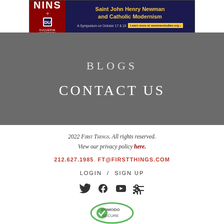[Figure (illustration): NINS / Duquesne University banner ad for Saint John Henry Newman and Catholic Modernism symposium on October 17 & 18. Learn more at newmanstudies.org]
BLOGS
CONTACT US
2022 First Things. All rights reserved.
View our privacy policy here.
212.627.1985  FT@FIRSTTHINGS.COM
LOGIN  /  SIGN UP
[Figure (illustration): Social media icons: Twitter, Facebook, YouTube, RSS]
[Figure (logo): Comodo Secure badge]
EV SSL Certificate